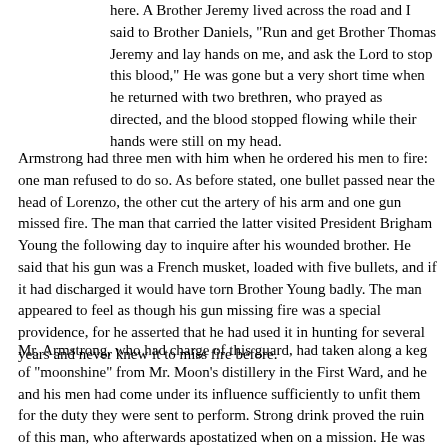here. A Brother Jeremy lived across the road and I said to Brother Daniels, "Run and get Brother Thomas Jeremy and lay hands on me, and ask the Lord to stop this blood," He was gone but a very short time when he returned with two brethren, who prayed as directed, and the blood stopped flowing while their hands were still on my head.
Armstrong had three men with him when he ordered his men to fire: one man refused to do so. As before stated, one bullet passed near the head of Lorenzo, the other cut the artery of his arm and one gun missed fire. The man that carried the latter visited President Brigham Young the following day to inquire after his wounded brother. He said that his gun was a French musket, loaded with five bullets, and if it had discharged it would have torn Brother Young badly. The man appeared to feel as though his gun missing fire was a special providence, for he asserted that he had used it in hunting for several years and never knew it to miss fire before.
Mr. Armstrong, who had charge of this guard, had taken along a keg of "moonshine" from Mr. Moon's distillery in the First Ward, and he and his men had come under its influence sufficiently to unfit them for the duty they were sent to perform. Strong drink proved the ruin of this man, who afterwards apostatized when on a mission. He was sentenced to a term in the Alton Penitentiary